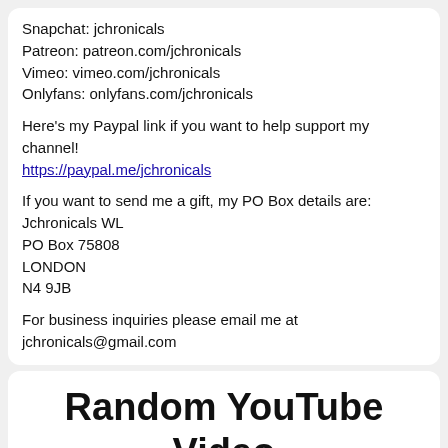Snapchat: jchronicals
Patreon: patreon.com/jchronicals
Vimeo: vimeo.com/jchronicals
Onlyfans: onlyfans.com/jchronicals
Here's my Paypal link if you want to help support my channel!
https://paypal.me/jchronicals
If you want to send me a gift, my PO Box details are:
Jchronicals WL
PO Box 75808
LONDON
N4 9JB
For business inquiries please email me at jchronicals@gmail.com
Random YouTube Video Generator